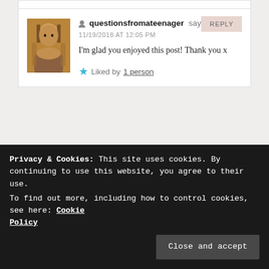questionsfromateenager says: 11/19/2018 AT 12:05 PM
I'm glad you enjoyed this post! Thank you x
★ Liked by 1 person
adarianqueen says: 12/03/2018 AT 7:34 AM
That is such a beautiful tattoo, with a beautiful
Privacy & Cookies: This site uses cookies. By continuing to use this website, you agree to their use.
To find out more, including how to control cookies, see here: Cookie Policy
Close and accept
questionsfromateenager says: